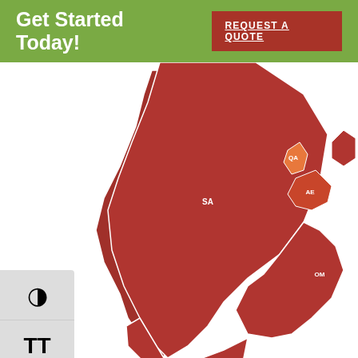Get Started Today! REQUEST A QUOTE
[Figure (map): Map of the Arabian Peninsula showing countries SA (Saudi Arabia), QA (Qatar), AE (United Arab Emirates), OM (Oman), YE (Yemen) highlighted in red/dark-red with white borders. Orange highlight on QA/AE area.]
Return to World Map
American Translation Partners created the Language Locator as a special search tool for our visitors that want to find out what language is spoken in any specific country all over the world. We hope you find the Language Locator